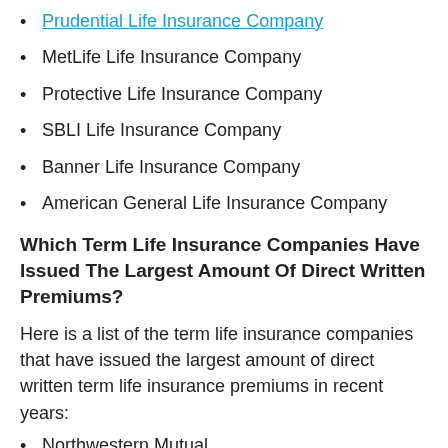Prudential Life Insurance Company
MetLife Life Insurance Company
Protective Life Insurance Company
SBLI Life Insurance Company
Banner Life Insurance Company
American General Life Insurance Company
Which Term Life Insurance Companies Have Issued The Largest Amount Of Direct Written Premiums?
Here is a list of the term life insurance companies that have issued the largest amount of direct written term life insurance premiums in recent years:
Northwestern Mutual
Metropolitan Life Insurance Company